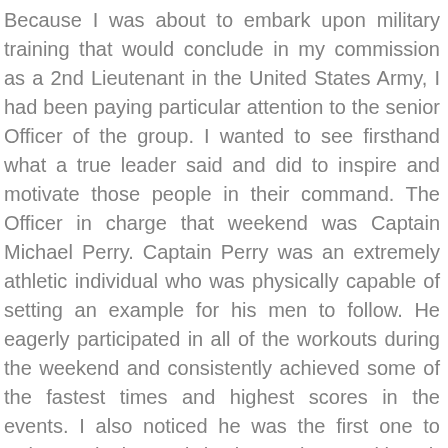Because I was about to embark upon military training that would conclude in my commission as a 2nd Lieutenant in the United States Army, I had been paying particular attention to the senior Officer of the group. I wanted to see firsthand what a true leader said and did to inspire and motivate those people in their command. The Officer in charge that weekend was Captain Michael Perry. Captain Perry was an extremely athletic individual who was physically capable of setting an example for his men to follow. He eagerly participated in all of the workouts during the weekend and consistently achieved some of the fastest times and highest scores in the events. I also noticed he was the first one to arrive each day and the last to leave. Although he was very confident, I observed that he was also very humble, always putting the welfare of both the CrossFit instructors and his Soldiers before himself.